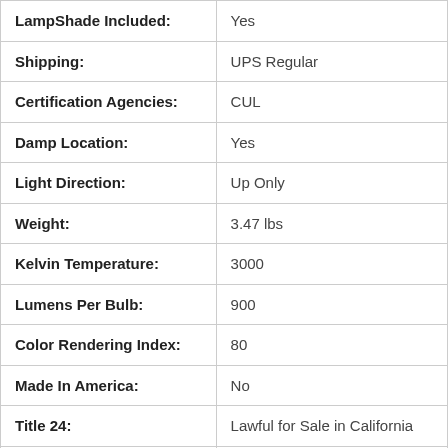| Attribute | Value |
| --- | --- |
| LampShade Included: | Yes |
| Shipping: | UPS Regular |
| Certification Agencies: | CUL |
| Damp Location: | Yes |
| Light Direction: | Up Only |
| Weight: | 3.47 lbs |
| Kelvin Temperature: | 3000 |
| Lumens Per Bulb: | 900 |
| Color Rendering Index: | 80 |
| Made In America: | No |
| Title 24: | Lawful for Sale in California |
| Total Lumens: | 1800.0 |